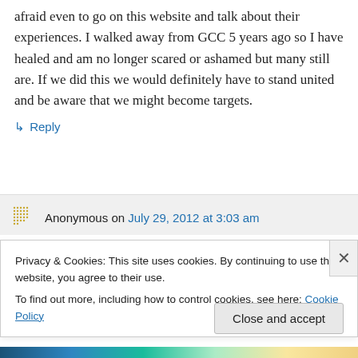afraid even to go on this website and talk about their experiences. I walked away from GCC 5 years ago so I have healed and am no longer scared or ashamed but many still are. If we did this we would definitely have to stand united and be aware that we might become targets.
↳ Reply
Anonymous on July 29, 2012 at 3:03 am
Privacy & Cookies: This site uses cookies. By continuing to use this website, you agree to their use. To find out more, including how to control cookies, see here: Cookie Policy
Close and accept